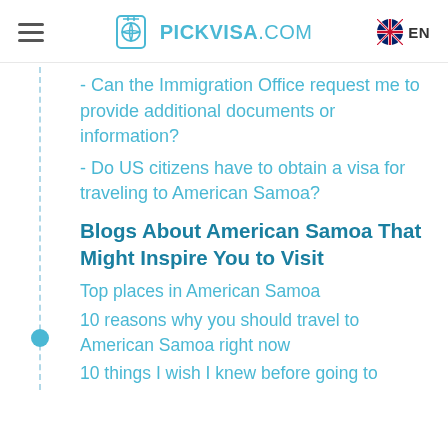PICKVISA.COM  EN
- Can the Immigration Office request me to provide additional documents or information?
- Do US citizens have to obtain a visa for traveling to American Samoa?
Blogs About American Samoa That Might Inspire You to Visit
Top places in American Samoa
10 reasons why you should travel to American Samoa right now
10 things I wish I knew before going to